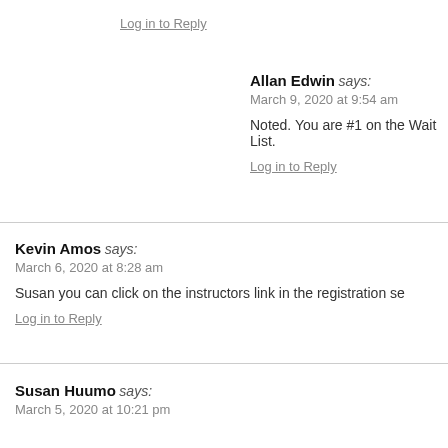Log in to Reply
Allan Edwin says:
March 9, 2020 at 9:54 am

Noted. You are #1 on the Wait List.

Log in to Reply
Kevin Amos says:
March 6, 2020 at 8:28 am

Susan you can click on the instructors link in the registration se

Log in to Reply
Susan Huumo says:
March 5, 2020 at 10:21 pm